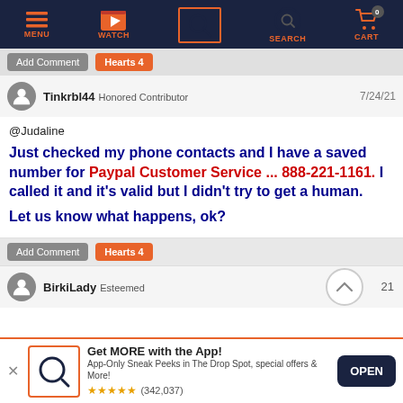[Figure (screenshot): Website navigation bar with MENU, WATCH, SEARCH (highlighted with red border), SEARCH, and CART icons on dark navy background]
Add Comment  Hearts 4
Tinkrbl44 Honored Contributor  7/24/21
@Judaline
Just checked my phone contacts and I have a saved number for Paypal Customer Service ... 888-221-1161.  I called it and it's valid but I didn't try to get a human.
Let us know what happens, ok?
Add Comment  Hearts 4
BirkiLady Esteemed  21
[Figure (screenshot): App banner at bottom: QVC app logo, 'Get MORE with the App!' text, description, 5-star rating (342,037 reviews), and OPEN button]